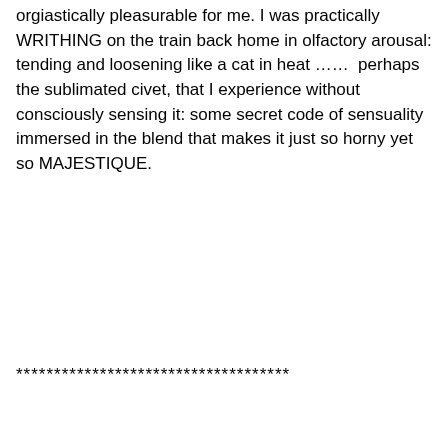orgiastically pleasurable for me. I was practically WRITHING on the train back home in olfactory arousal: tending and loosening like a cat in heat ……  perhaps the sublimated civet, that I experience without consciously sensing it: some secret code of sensuality immersed in the blend that makes it just so horny yet so MAJESTIQUE.
************************************